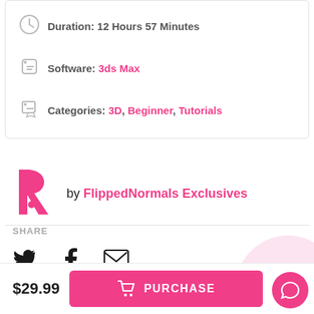Duration: 12 Hours 57 Minutes
Software: 3ds Max
Categories: 3D, Beginner, Tutorials
[Figure (logo): FlippedNormals pink F logo]
by FlippedNormals Exclusives
SHARE
[Figure (infographic): Social share icons: Twitter bird, Facebook f, Email envelope]
$29.99
PURCHASE
[Figure (infographic): Pink chat bubble circle button in bottom right corner]